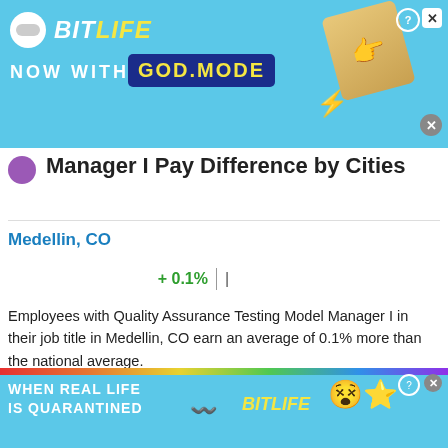[Figure (screenshot): BitLife app advertisement banner - 'Now With GOD MODE' on cyan background with hand illustration]
Manager I Pay Difference by Cities
Medellin, CO
+ 0.1%  |
Employees with Quality Assurance Testing Model Manager I in their job title in Medellin, CO earn an average of 0.1% more than the national average.
This site uses cookies and other similar technologies to provide site functionality, analyze traffic and usage, and
[Figure (screenshot): BitLife advertisement banner at bottom - 'When Real Life Is Quarantined' with BitLife logo and emoji characters]